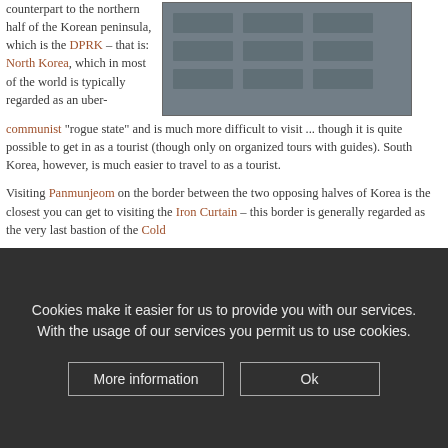counterpart to the northern half of the Korean peninsula, which is the DPRK – that is: North Korea, which in most of the world is typically regarded as an uber-communist "rogue state" and is much more difficult to visit ... though it is quite possible to get in as a tourist (though only on organized tours with guides). South Korea, however, is much easier to travel to as a tourist.
[Figure (photo): Aerial photograph showing rows of buildings or structures with grey/blue roofs, likely in Korea]
Visiting Panmunjeom on the border between the two opposing halves of Korea is the closest you can get to visiting the Iron Curtain – this border is generally regarded as the very last bastion of the Cold...
Cookies make it easier for us to provide you with our services. With the usage of our services you permit us to use cookies.